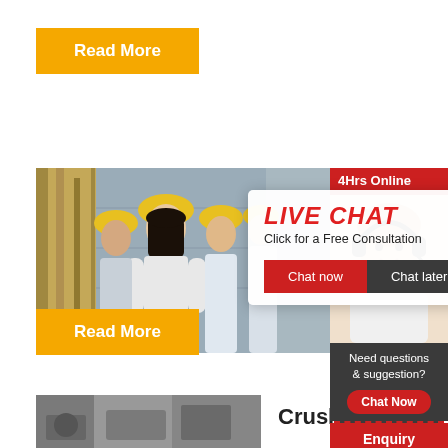[Figure (other): Yellow 'Read More' button at top left]
[Figure (photo): Workers in yellow hard hats at industrial facility]
[Figure (other): Live Chat overlay popup with 'LIVE CHAT', 'Click for a Free Consultation', 'Chat now' and 'Chat later' buttons]
[Figure (other): Right sidebar with '24Hrs Online' red header, customer service agent photo, 'Need questions & suggestion?', 'Chat Now' button, 'Enquiry' link, 'limingjlmofen' text]
Shree D
[Figure (other): Yellow 'Read More' button at lower left]
[Figure (photo): Partial photo of industrial/crushing equipment at bottom left]
Crushe